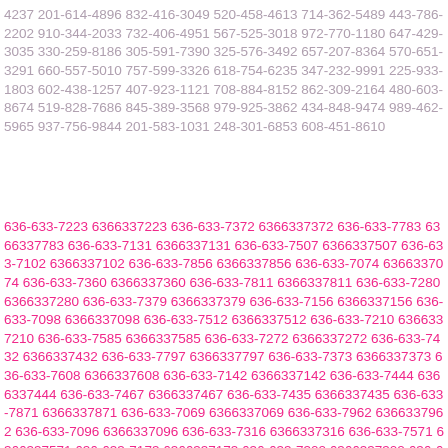4237 201-614-4896 832-416-3049 520-458-4613 714-362-5489 443-786-2202 910-344-2033 732-406-4951 567-525-3018 972-770-1180 647-429-3035 330-259-8186 305-591-7390 325-576-3492 657-207-8364 570-651-3291 660-557-5010 757-599-3326 618-754-6235 347-232-9991 225-933-1803 602-438-1257 407-923-1121 708-884-8152 862-309-2164 480-603-8674 519-828-7686 845-389-3568 979-925-3862 434-848-9474 989-462-5965 937-756-9844 201-583-1031 248-301-6853 608-451-8610
636-633-7223 6366337223 636-633-7372 6366337372 636-633-7783 6366337783 636-633-7131 6366337131 636-633-7507 6366337507 636-633-7102 6366337102 636-633-7856 6366337856 636-633-7074 6366337074 636-633-7360 6366337360 636-633-7811 6366337811 636-633-7280 6366337280 636-633-7379 6366337379 636-633-7156 6366337156 636-633-7098 6366337098 636-633-7512 6366337512 636-633-7210 6366337210 636-633-7585 6366337585 636-633-7272 6366337272 636-633-7432 6366337432 636-633-7797 6366337797 636-633-7373 6366337373 636-633-7608 6366337608 636-633-7142 6366337142 636-633-7444 6366337444 636-633-7467 6366337467 636-633-7435 6366337435 636-633-7871 6366337871 636-633-7069 6366337069 636-633-7962 6366337962 636-633-7096 6366337096 636-633-7316 6366337316 636-633-7571 6366337571 636-633-7173 6366337173 636-633-7302 6366337302 636-633-7110 6366337110 636-633-7899 6366337899 636-633-7687 6366337687 636-633-7973 6366337973 636-633-7295 6366337295 636-633-7678 6366337678 636-633-7150 6366337150 636-633-7014 6366337014 636-633-7349